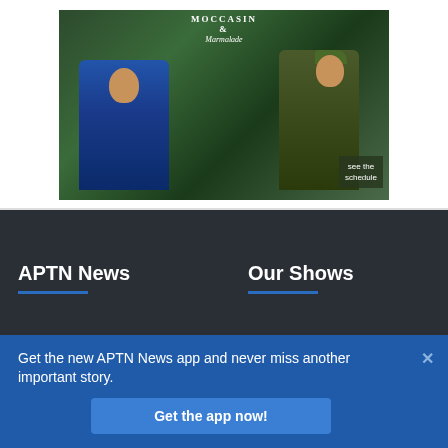[Figure (photo): Two men standing outdoors in a forested area. Left man wears a blue jacket, right man wears an olive/brown jacket and green beret. TV show promotional image with title text and 'see the schedule' badge in lower right corner.]
APTN News
Our Shows
Get the new APTN News app and never miss another important story.
Get the app now!